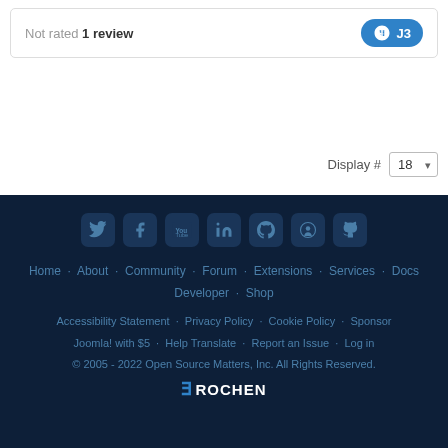Not rated 1 review
[Figure (other): J3 badge button with Joomla icon]
Display # 18
Home · About · Community · Forum · Extensions · Services · Docs · Developer · Shop
Accessibility Statement · Privacy Policy · Cookie Policy · Sponsor Joomla! with $5 · Help Translate · Report an Issue · Log in
© 2005 - 2022 Open Source Matters, Inc. All Rights Reserved.
ROCHEN